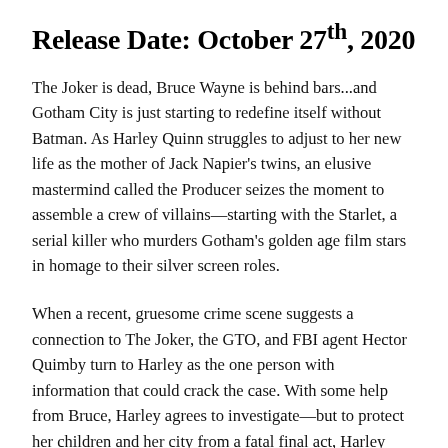Release Date: October 27th, 2020
The Joker is dead, Bruce Wayne is behind bars...and Gotham City is just starting to redefine itself without Batman. As Harley Quinn struggles to adjust to her new life as the mother of Jack Napier's twins, an elusive mastermind called the Producer seizes the moment to assemble a crew of villains—starting with the Starlet, a serial killer who murders Gotham's golden age film stars in homage to their silver screen roles.
When a recent, gruesome crime scene suggests a connection to The Joker, the GTO, and FBI agent Hector Quimby turn to Harley as the one person with information that could crack the case. With some help from Bruce, Harley agrees to investigate—but to protect her children and her city from a fatal final act, Harley must flirt with madness and confront her own past.